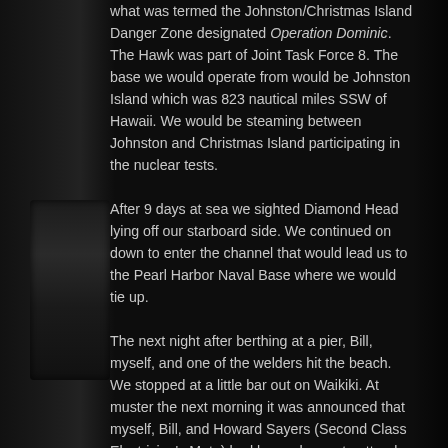what was termed the Johnston/Christmas Island Danger Zone designated Operation Dominic. The Hawk was part of Joint Task Force 8. The base we would operate from would be Johnston Island which was 823 nautical miles SSW of Hawaii. We would be steaming between Johnston and Christmas Island participating in the nuclear tests.
After 9 days at sea we sighted Diamond Head lying off our starboard side. We continued on down to enter the channel that would lead us to the Pearl Harbor Naval Base where we would tie up.
The next night after berthing at a pier, Bill, myself, and one of the welders hit the beach. We stopped at a little bar out on Waikiki. At muster the next morning it was announced that myself, Bill, and Howard Sayers (Second Class Electrician's Mate) had been chosen to attend radiology school for five days. Three days after the classes ended we pulled away from our